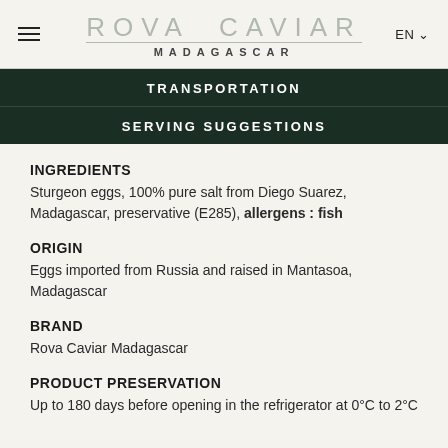ROVA CAVIAR MADAGASCAR
TRANSPORTATION
SERVING SUGGESTIONS
INGREDIENTS
Sturgeon eggs, 100% pure salt from Diego Suarez, Madagascar, preservative (E285), allergens : fish
ORIGIN
Eggs imported from Russia and raised in Mantasoa, Madagascar
BRAND
Rova Caviar Madagascar
PRODUCT PRESERVATION
Up to 180 days before opening in the refrigerator at 0°C to 2°C